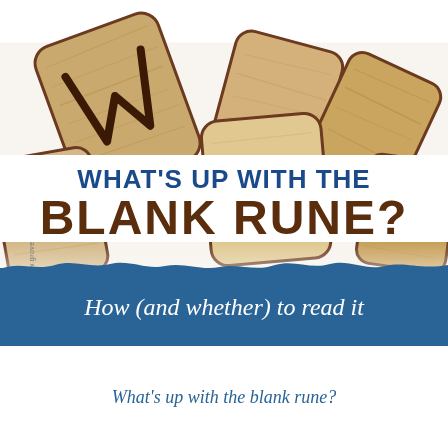[Figure (photo): Wooden rune tiles scattered on a white background, photographed from above. Some tiles show runic symbols carved and burned into the wood. The tiles are light brown/tan colored with dark brown edges and markings.]
WHAT'S UP WITH THE BLANK RUNE?
www.groveandgrotto.com
[Figure (infographic): Blue torn-paper style banner with white italic text reading 'How (and whether) to read it']
How (and whether) to read it
What's up with the blank rune?